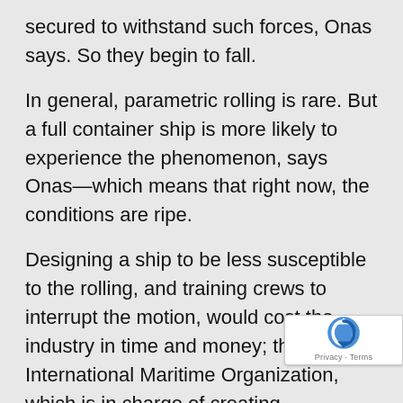secured to withstand such forces, Onas says. So they begin to fall.
In general, parametric rolling is rare. But a full container ship is more likely to experience the phenomenon, says Onas—which means that right now, the conditions are ripe.
Designing a ship to be less susceptible to the rolling, and training crews to interrupt the motion, would cost the industry in time and money; the International Maritime Organization, which is in charge of creating seaworthiness standards, has been considering the issue.
It will likely be months, and maybe even years, before anyone knows exactly what happened to container ships in the Pacific. "The investigation process is still underway and will be a long process."